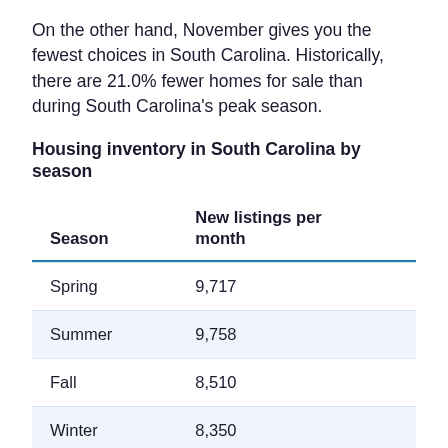On the other hand, November gives you the fewest choices in South Carolina. Historically, there are 21.0% fewer homes for sale than during South Carolina's peak season.
Housing inventory in South Carolina by season
| Season | New listings per month |
| --- | --- |
| Spring | 9,717 |
| Summer | 9,758 |
| Fall | 8,510 |
| Winter | 8,350 |